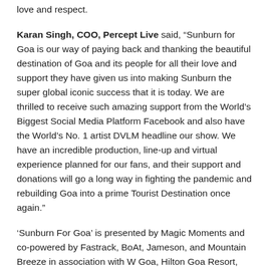love and respect.
Karan Singh, COO, Percept Live said, “Sunburn for Goa is our way of paying back and thanking the beautiful destination of Goa and its people for all their love and support they have given us into making Sunburn the super global iconic success that it is today. We are thrilled to receive such amazing support from the World’s Biggest Social Media Platform Facebook and also have the World’s No. 1 artist DVLM headline our show. We have an incredible production, line-up and virtual experience planned for our fans, and their support and donations will go a long way in fighting the pandemic and rebuilding Goa into a prime Tourist Destination once again.”
‘Sunburn For Goa’ is presented by Magic Moments and co-powered by Fastrack, BoAt, Jameson, and Mountain Breeze in association with W Goa, Hilton Goa Resort, Grand Hyatt Goa, Riva Beach Resort, and Big Daddy Casino